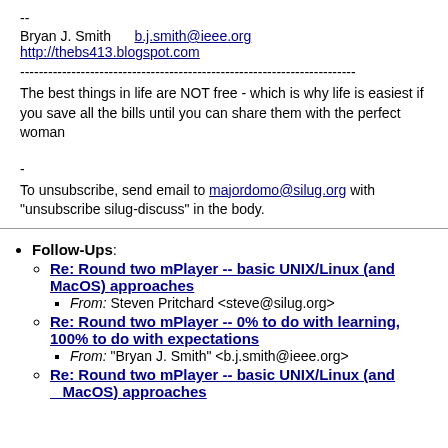--
Bryan J. Smith    b.j.smith@ieee.org
http://thebs413.blogspot.com
------------------------------------------------------------------------
The best things in life are NOT free - which is why life is easiest if
you save all the bills until you can share them with the perfect woman
-
To unsubscribe, send email to majordomo@silug.org with "unsubscribe silug-discuss" in the body.
Follow-Ups:
Re: Round two mPlayer -- basic UNIX/Linux (and MacOS) approaches
From: Steven Pritchard <steve@silug.org>
Re: Round two mPlayer -- 0% to do with learning, 100% to do with expectations
From: "Bryan J. Smith" <b.j.smith@ieee.org>
Re: Round two mPlayer -- basic UNIX/Linux (and MacOS) approaches